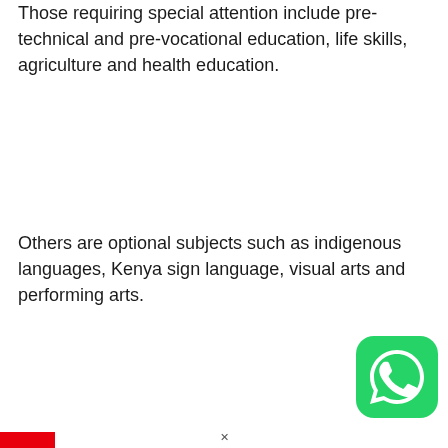Those requiring special attention include pre-technical and pre-vocational education, life skills, agriculture and health education.
Others are optional subjects such as indigenous languages, Kenya sign language, visual arts and performing arts.
[Figure (logo): WhatsApp logo icon — green rounded square with white phone/chat bubble symbol]